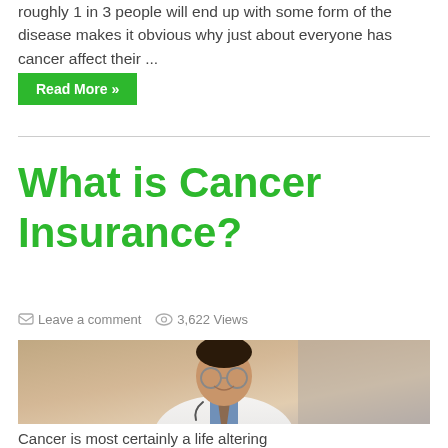roughly 1 in 3 people will end up with some form of the disease makes it obvious why just about everyone has cancer affect their ...
Read More »
What is Cancer Insurance?
Leave a comment   3,622 Views
[Figure (photo): A smiling male doctor wearing glasses, a white lab coat, and a blue shirt with stethoscope around his neck, against a light brownish background]
Cancer is most certainly a life altering